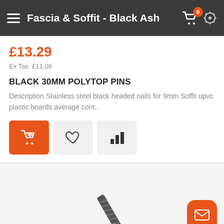Fascia & Soffit - Black Ash
£13.29
Ex Tax: £11.08
BLACK 30MM POLYTOP PINS
Description Stainless steel black headed nails for 9mm Soffit upvc plastic boards average cont..
[Figure (screenshot): Product action buttons: add to cart (orange), wishlist (heart), compare (bar chart)]
[Figure (photo): Partial image of black polytop pin/nail against light background, with orange email contact button in bottom right]